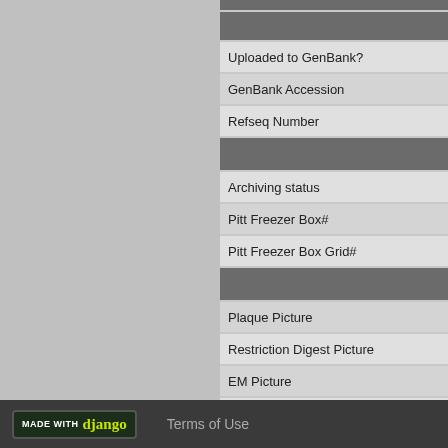[Figure (screenshot): Left gray panel of web application interface]
(dark row - header)
(dark row - subheader)
Uploaded to GenBank?
GenBank Accession
Refseq Number
(dark row - section header)
Archiving status
Pitt Freezer Box#
Pitt Freezer Box Grid#
(dark row - section header)
Plaque Picture
Restriction Digest Picture
EM Picture
Final DNAMaster File
GenBank File for Phamerator
MADE WITH django   Terms of Use